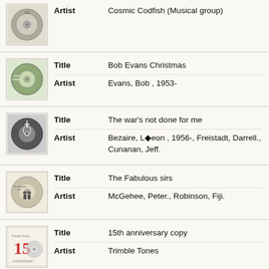Artist: Cosmic Codfish (Musical group)
Title: Bob Evans Christmas | Artist: Evans, Bob , 1953-
Title: The war's not done for me | Artist: Bezaire, L◆eon , 1956-, Freistadt, Darrell., Cunanan, Jeff.
Title: The Fabulous sirs | Artist: McGehee, Peter., Robinson, Fiji.
Title: 15th anniversary copy | Artist: Trimble Tones